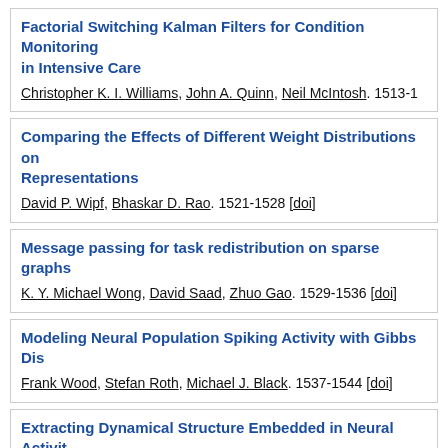Factorial Switching Kalman Filters for Condition Monitoring in Intensive Care
Christopher K. I. Williams, John A. Quinn, Neil McIntosh. 1513-1
Comparing the Effects of Different Weight Distributions on Representations
David P. Wipf, Bhaskar D. Rao. 1521-1528 [doi]
Message passing for task redistribution on sparse graphs
K. Y. Michael Wong, David Saad, Zhuo Gao. 1529-1536 [doi]
Modeling Neural Population Spiking Activity with Gibbs Dis
Frank Wood, Stefan Roth, Michael J. Black. 1537-1544 [doi]
Extracting Dynamical Structure Embedded in Neural Activit
Byron M. Yu, Afsheen Afshar, Gopal Santhanam, Stephen I. Ryu, Maneesh Sahani. 1545-1552 [doi]